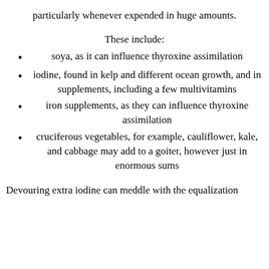particularly whenever expended in huge amounts.
These include:
soya, as it can influence thyroxine assimilation
iodine, found in kelp and different ocean growth, and in supplements, including a few multivitamins
iron supplements, as they can influence thyroxine assimilation
cruciferous vegetables, for example, cauliflower, kale, and cabbage may add to a goiter, however just in enormous sums
Devouring extra iodine can meddle with the equalization